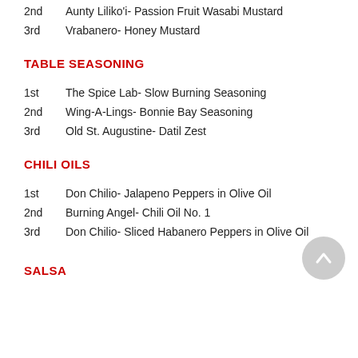2nd  Aunty Liliko'i- Passion Fruit Wasabi Mustard
3rd  Vrabanero- Honey Mustard
TABLE SEASONING
1st  The Spice Lab- Slow Burning Seasoning
2nd  Wing-A-Lings- Bonnie Bay Seasoning
3rd  Old St. Augustine- Datil Zest
CHILI OILS
1st  Don Chilio- Jalapeno Peppers in Olive Oil
2nd  Burning Angel- Chili Oil No. 1
3rd  Don Chilio- Sliced Habanero Peppers in Olive Oil
SALSA